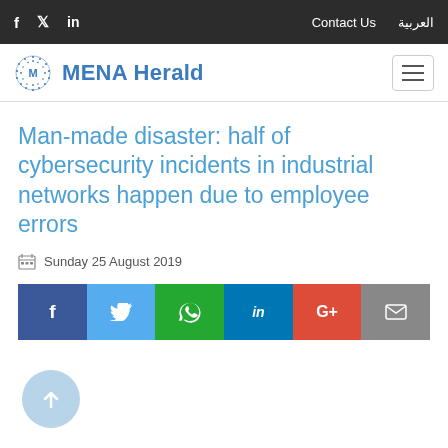f  y  in    Contact Us  العربية
[Figure (logo): MENA Herald logo with circular dot pattern icon and bold blue text]
Man-made disaster: half of cybersecurity incidents in industrial networks happen due to employee errors
Sunday 25 August 2019
[Figure (infographic): Social share bar with buttons: Facebook (dark blue), Twitter (light blue), WhatsApp (green), LinkedIn (blue), Google+ (red), Email (grey)]